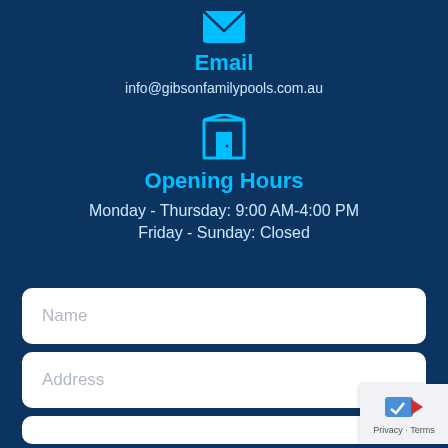[Figure (illustration): Cyan email envelope icon]
Email
info@gibsonfamilypools.com.au
[Figure (illustration): Cyan building/door icon representing a location or office]
Opening Hours
Monday - Thursday: 9:00 AM-4:00 PM
Friday - Sunday: Closed
Name
Address